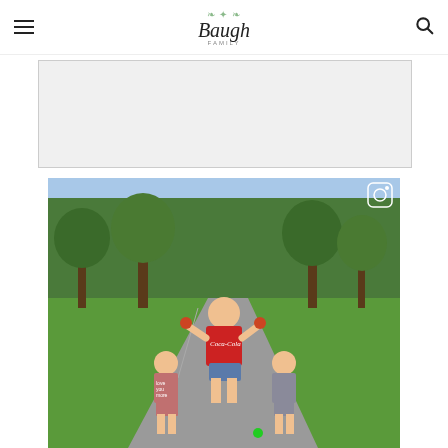The Baugh Family
[Figure (photo): Advertisement/banner placeholder box with gray background]
[Figure (photo): Three children standing on a gravel driveway outdoors. The older girl in the middle wears a red Coca-Cola t-shirt and holds up tomatoes. Two younger boys flank her. Green trees and grass in the background.]